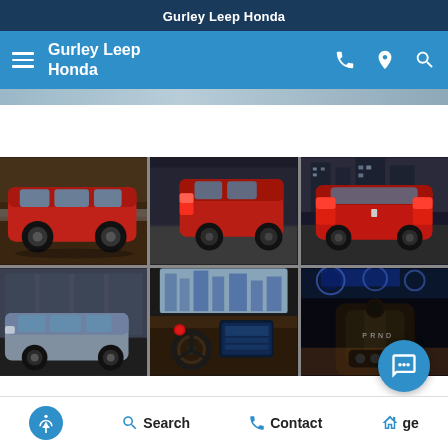Gurley Leep Honda
Gurley Leep Honda
[Figure (photo): Hero image strip showing blurred exterior of a vehicle]
[Figure (photo): Six-panel photo gallery of Honda CR-V vehicles: three exterior shots (red CR-V from side, red CR-V rear 3/4, red CR-V rear), one exterior silver CR-V parked in front of building, one interior dashboard view, one interior gear shift/console closeup]
Search   Contact   Garage